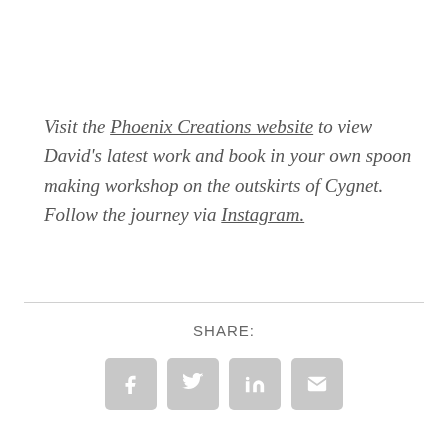Visit the Phoenix Creations website to view David's latest work and book in your own spoon making workshop on the outskirts of Cygnet. Follow the journey via Instagram.
SHARE:
[Figure (infographic): Four social share icon buttons: Facebook (f), Twitter (bird), LinkedIn (in), Email (envelope), each in a rounded grey square.]